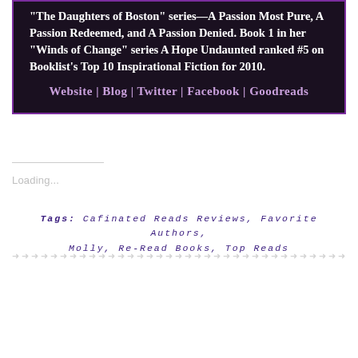The Daughters of Boston" series—A Passion Most Pure, A Passion Redeemed, and A Passion Denied. Book 1 in her "Winds of Change" series A Hope Undaunted ranked #5 on Booklist's Top 10 Inspirational Fiction for 2010.
Website | Blog | Twitter | Facebook | Goodreads
Loading...
Tags: Cafinated Reads Reviews, Favorite Authors, Molly, Re-Read Books, Top Reads